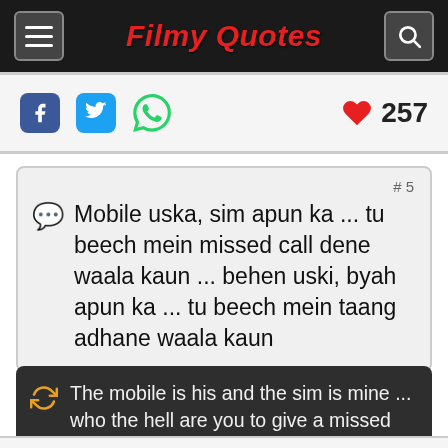Filmy Quotes
257
Mobile uska, sim apun ka ... tu beech mein missed call dene waala kaun ... behen uski, byah apun ka ... tu beech mein taang adhane waala kaun
The mobile is his and the sim is mine ... who the hell are you to give a missed call in between ... it's his sister and my wedding ... who the hell are you to put your foot in between